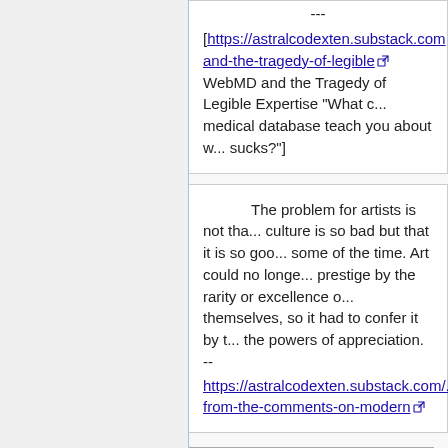--- [https://astralcodexten.substack.com/...and-the-tragedy-of-legible WebMD and the Tragedy of Legible Expertise "What can a medical database teach you about w... sucks?"]
The problem for artists is not that culture is so bad but that it is so good some of the time. Art could no longer prestige by the rarity or excellence of themselves, so it had to confer it by the powers of appreciation. -- https://astralcodexten.substack.com/...from-the-comments-on-modern
Bayly, Joseph